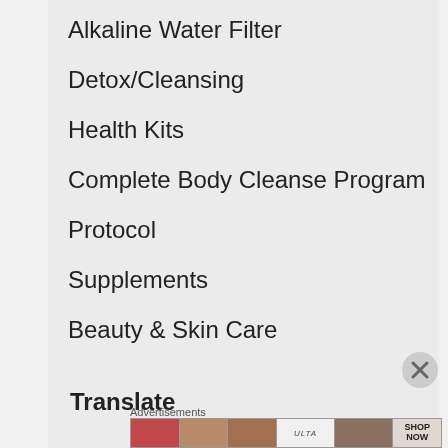Alkaline Water Filter
Detox/Cleansing
Health Kits
Complete Body Cleanse Program
Protocol
Supplements
Beauty & Skin Care
Translate
Advertisements
[Figure (infographic): Ulta Beauty advertisement banner showing beauty product images — lipstick, makeup brush, eye, Ulta Beauty logo, eye makeup, and SHOP NOW text]